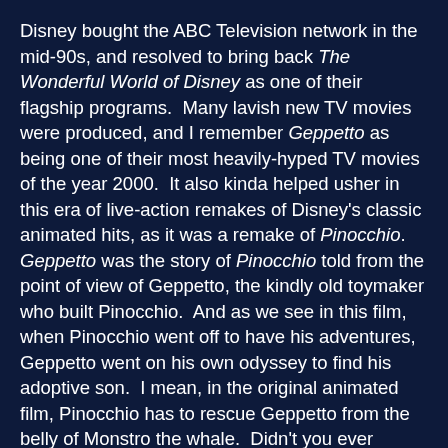Disney bought the ABC Television network in the mid-90s, and resolved to bring back The Wonderful World of Disney as one of their flagship programs.  Many lavish new TV movies were produced, and I remember Geppetto as being one of their most heavily-hyped TV movies of the year 2000.  It also kinda helped usher in this era of live-action remakes of Disney's classic animated hits, as it was a remake of Pinocchio.
Geppetto was the story of Pinocchio told from the point of view of Geppetto, the kindly old toymaker who built Pinocchio.  And as we see in this film, when Pinocchio went off to have his adventures, Geppetto went on his own odyssey to find his adoptive son.  I mean, in the original animated film, Pinocchio has to rescue Geppetto from the belly of Monstro the whale.  Didn't you ever wonder how Geppetto wound up there?
To play our lead, the ABC network pulled from their stable of contract stars and selected Drew Carey, still on The Drew Carey Show.  Julia Louis-Dreyfuss, fresh off Seinfeld, played the Blue Fairy, and for some reason, decided to do the